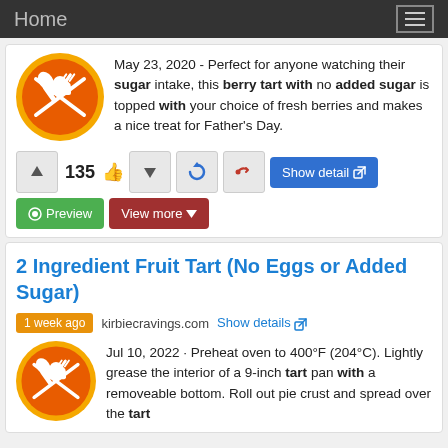Home
May 23, 2020 - Perfect for anyone watching their sugar intake, this berry tart with no added sugar is topped with your choice of fresh berries and makes a nice treat for Father's Day.
135
2 Ingredient Fruit Tart (No Eggs or Added Sugar)
1 week ago   kirbiecravings.com   Show details
Jul 10, 2022  · Preheat oven to 400°F (204°C). Lightly grease the interior of a 9-inch tart pan with a removeable bottom. Roll out pie crust and spread over the tart